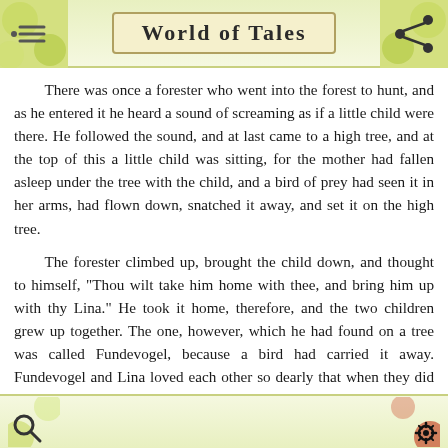World of Tales
There was once a forester who went into the forest to hunt, and as he entered it he heard a sound of screaming as if a little child were there. He followed the sound, and at last came to a high tree, and at the top of this a little child was sitting, for the mother had fallen asleep under the tree with the child, and a bird of prey had seen it in her arms, had flown down, snatched it away, and set it on the high tree.
The forester climbed up, brought the child down, and thought to himself, "Thou wilt take him home with thee, and bring him up with thy Lina." He took it home, therefore, and the two children grew up together. The one, however, which he had found on a tree was called Fundevogel, because a bird had carried it away. Fundevogel and Lina loved each other so dearly that when they did not see each other they were sad.
The forester, however, had an old cook, who one evening took two pails and began to fetch water, and did not go once only, but many times, out to the spring. Lina saw this and said, "Hark ye, Sanna, why are you fetching so much water?" "If thou